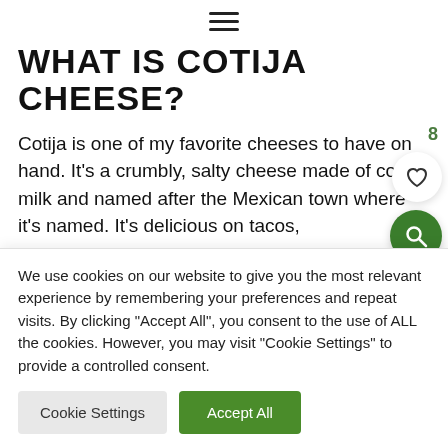≡
WHAT IS COTIJA CHEESE?
Cotija is one of my favorite cheeses to have on hand. It's a crumbly, salty cheese made of cow's milk and named after the Mexican town where it's named. It's delicious on tacos,
We use cookies on our website to give you the most relevant experience by remembering your preferences and repeat visits. By clicking "Accept All", you consent to the use of ALL the cookies. However, you may visit "Cookie Settings" to provide a controlled consent.